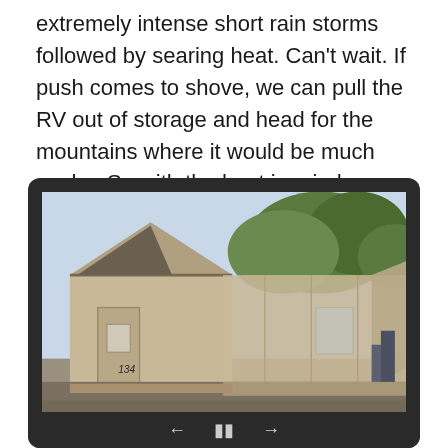extremely intense short rain storms followed by searing heat. Can't wait. If push comes to shove, we can pull the RV out of storage and head for the mountains where it would be much cooler. So with the heat in mind, we had sun shades installed on our patio and most of our windows.
[Figure (photo): A building with a peaked roof (number 134) next to what appears to be an RV or large vehicle covered with tan sun shades on a patio, with trees visible in the background. The image is displayed in a dark tablet-style frame with media playback controls (back, pause, forward) at the bottom.]